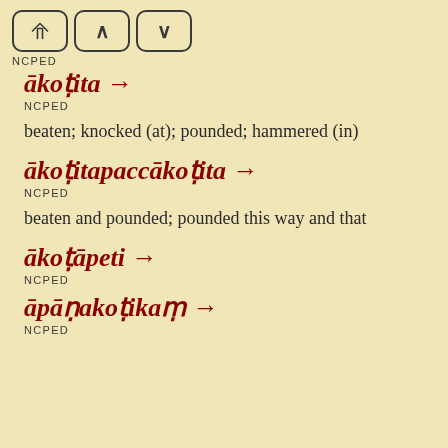NCPED
ākoṭita →
NCPED
beaten; knocked (at); pounded; hammered (in)
ākoṭitapaccākoṭita →
NCPED
beaten and pounded; pounded this way and that
ākoṭāpeti →
NCPED
āpāṇakoṭikaṃ →
NCPED